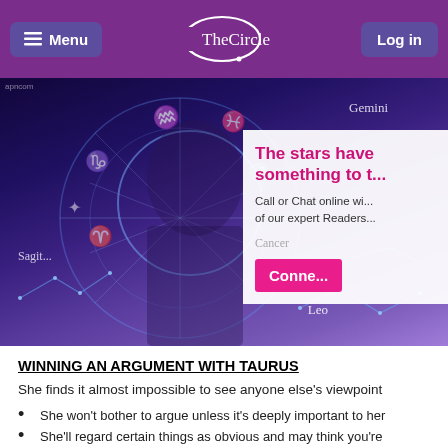Menu | TheCircle | Log in
[Figure (photo): Banner image showing a woman holding a phone surrounded by zodiac symbols and constellation graphics. Right side overlay shows partial text 'The stars have something to t...' and 'Call or Chat online wi... of our expert Readers...' with a pink Connect button. Zodiac labels: Gemini, Cancer, Leo, Sagittarius visible.]
WINNING AN ARGUMENT WITH TAURUS
She finds it almost impossible to see anyone else's viewpoint
She won't bother to argue unless it's deeply important to her
She'll regard certain things as obvious and may think you're